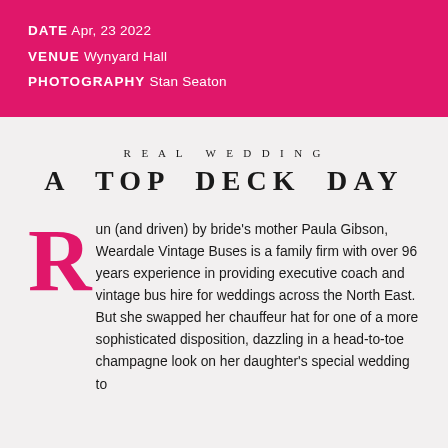DATE Apr, 23 2022
VENUE Wynyard Hall
PHOTOGRAPHY Stan Seaton
REAL WEDDING
A TOP DECK DAY
Run (and driven) by bride's mother Paula Gibson, Weardale Vintage Buses is a family firm with over 96 years experience in providing executive coach and vintage bus hire for weddings across the North East. But she swapped her chauffeur hat for one of a more sophisticated disposition, dazzling in a head-to-toe champagne look on her daughter's special wedding to